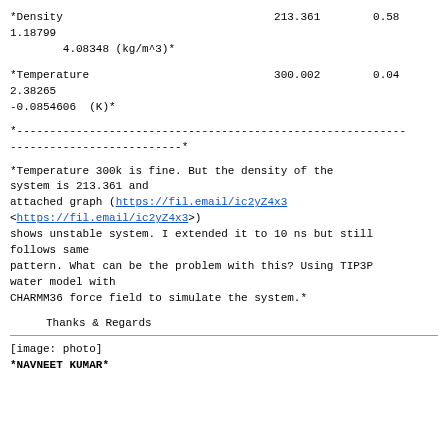*Density                                213.361        0.58
1.18799
        4.08348 (kg/m^3)*
*Temperature                            300.002        0.04
2.38265
-0.0854606  (K)*
*-----------------------------------------------------------
--------------------------*
*Temperature 300k is fine. But the density of the system is 213.361 and
attached graph (https://fil.email/ic2yZ4x3
<https://fil.email/ic2yZ4x3>)
shows unstable system. I extended it to 10 ns but still follows same
pattern. What can be the problem with this? Using TIP3P water model with
CHARMM36 force field to simulate the system.*
Thanks & Regards
[image: photo]
*NAVNEET KUMAR*